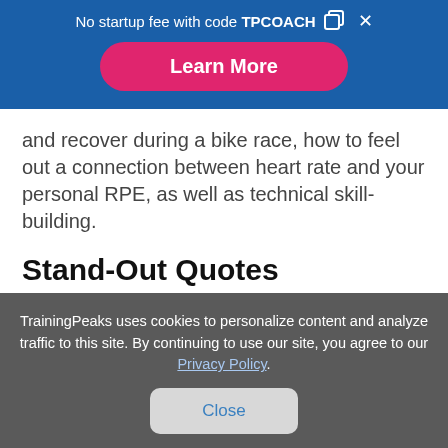No startup fee with code TPCOACH
Learn More
and recover during a bike race, how to feel out a connection between heart rate and your personal RPE, as well as technical skill-building.
Stand-Out Quotes
TrainingPeaks uses cookies to personalize content and analyze traffic to this site. By continuing to use our site, you agree to our Privacy Policy.
Close